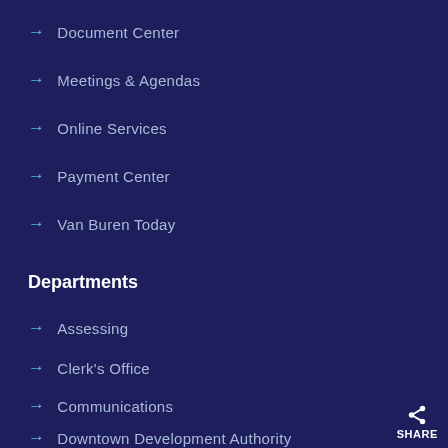Document Center
Meetings & Agendas
Online Services
Payment Center
Van Buren Today
Departments
Assessing
Clerk's Office
Communications
Downtown Development Authority